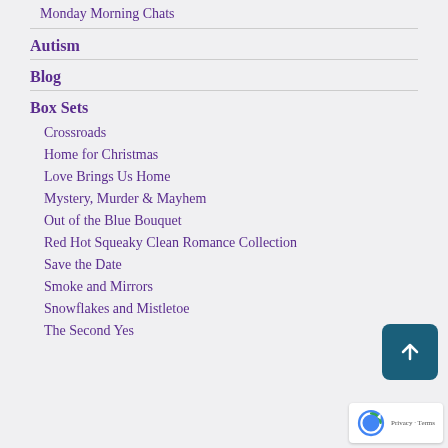Monday Morning Chats
Autism
Blog
Box Sets
Crossroads
Home for Christmas
Love Brings Us Home
Mystery, Murder & Mayhem
Out of the Blue Bouquet
Red Hot Squeaky Clean Romance Collection
Save the Date
Smoke and Mirrors
Snowflakes and Mistletoe
The Second Yes